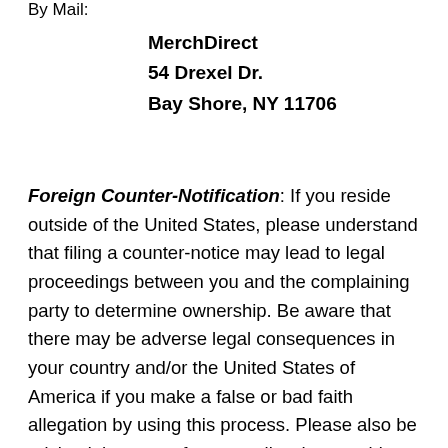By Mail:
MerchDirect
54 Drexel Dr.
Bay Shore, NY 11706
Foreign Counter-Notification: If you reside outside of the United States, please understand that filing a counter-notice may lead to legal proceedings between you and the complaining party to determine ownership. Be aware that there may be adverse legal consequences in your country and/or the United States of America if you make a false or bad faith allegation by using this process. Please also be advised that we enforce a policy that provides for the termination in appropriate circumstances of access privileges for Users who are infringers. So, if you are not sure whether content you posted on the Website is being infringed, or are otherwise unsure of whether